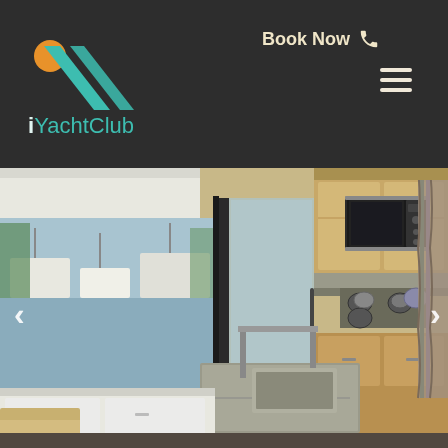[Figure (logo): iYachtClub logo with orange circle and teal check/slash mark on dark background]
Book Now
[Figure (photo): Interior of a yacht galley kitchen showing wooden cabinets, microwave, stovetop, sink, stainless steel accents, and a sliding glass door opening to a marina with other boats visible outside]